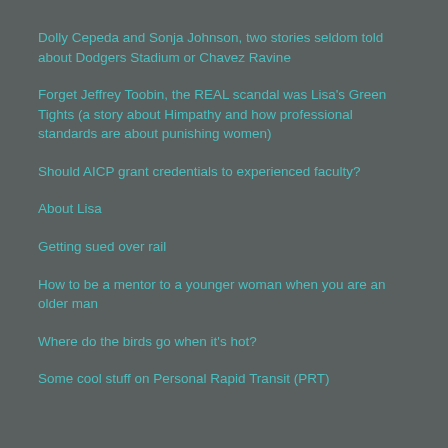Dolly Cepeda and Sonja Johnson, two stories seldom told about Dodgers Stadium or Chavez Ravine
Forget Jeffrey Toobin, the REAL scandal was Lisa's Green Tights (a story about Himpathy and how professional standards are about punishing women)
Should AICP grant credentials to experienced faculty?
About Lisa
Getting sued over rail
How to be a mentor to a younger woman when you are an older man
Where do the birds go when it's hot?
Some cool stuff on Personal Rapid Transit (PRT)